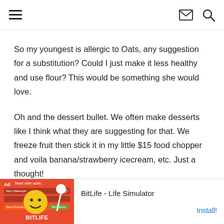hamburger menu | mail icon | search icon
So my youngest is allergic to Oats, any suggestion for a substitution? Could I just make it less healthy and use flour? This would be something she would love.
Oh and the dessert bullet. We often make desserts like I think what they are suggesting for that. We freeze fruit then stick it in my little $15 food chopper and voila banana/strawberry icecream, etc. Just a thought!
[Figure (screenshot): Ad banner for BitLife - Life Simulator app with red background, yellow smiley face, sperm icon, and BITLIFE text with Install button]